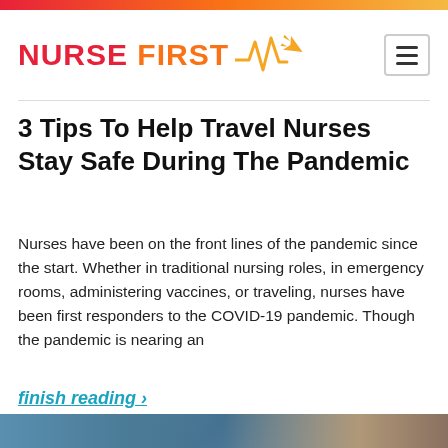NURSE FIRST
3 Tips To Help Travel Nurses Stay Safe During The Pandemic
Nurses have been on the front lines of the pandemic since the start. Whether in traditional nursing roles, in emergency rooms, administering vaccines, or traveling, nurses have been first responders to the COVID-19 pandemic. Though the pandemic is nearing an
finish reading ›
[Figure (photo): Photo of a person near an ambulance or medical vehicle, partial view]